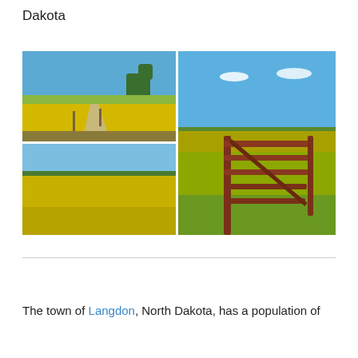Dakota
[Figure (photo): Grid of three photos showing canola/rapeseed fields in North Dakota. Top-left: a dirt road through yellow flowering canola fields with a tree in the background. Bottom-left: a wide view of yellow canola fields under blue sky. Right (tall): a rustic farm gate in front of yellow canola fields under a clear blue sky with a few small clouds.]
The town of Langdon, North Dakota, has a population of